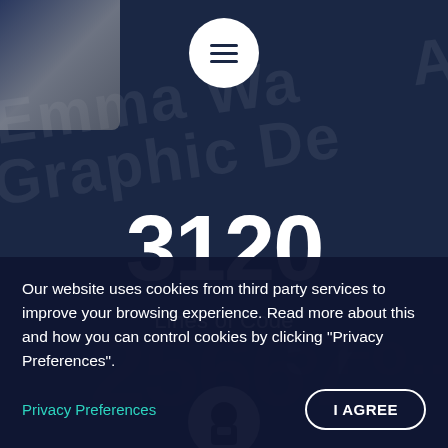[Figure (screenshot): Website screenshot showing a dark navy background with watermark text including 'Emma Wa...', 'Graphic De...', 'Art Direction', and a hamburger menu button circle at top center, a stat counter showing 3120 Lines of Code, and a bottom icon circle]
3120
Lines of Code
Our website uses cookies from third party services to improve your browsing experience. Read more about this and how you can control cookies by clicking "Privacy Preferences".
Privacy Preferences
I AGREE